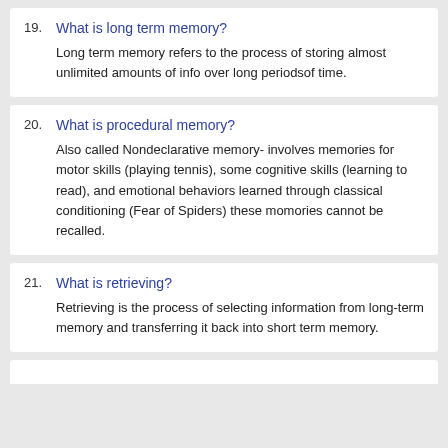19. What is long term memory?
Long term memory refers to the process of storing almost unlimited amounts of info over long periodsof time.
20. What is procedural memory?
Also called Nondeclarative memory- involves memories for motor skills (playing tennis), some cognitive skills (learning to read), and emotional behaviors learned through classical conditioning (Fear of Spiders) these momories cannot be recalled.
21. What is retrieving?
Retrieving is the process of selecting information from long-term memory and transferring it back into short term memory.